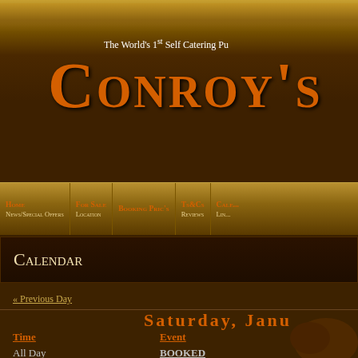The World's 1st Self Catering Pu
Conroy's
Home | For Sale | Booking Pric's | Ts&Cs | Cale... | News/Special Offers | Location | Reviews | Lin...
Calendar
« Previous Day
Saturday, Janu
| Time | Event |
| --- | --- |
| All Day | BOOKED |
|  | BOOKED |